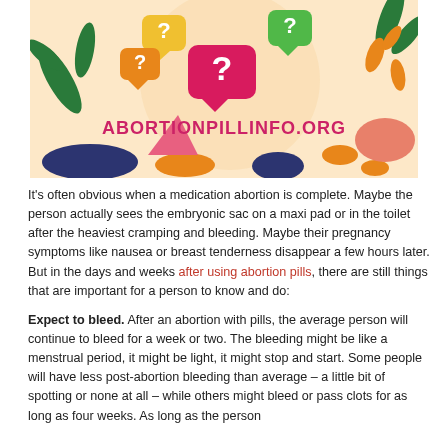[Figure (illustration): Colorful illustrated banner with speech bubbles containing question marks, decorative leaves and shapes in various colors (green, orange, pink, navy), on a light peach background. Text 'ABORTIONPILLINFO.ORG' displayed in bold pink/magenta letters.]
It's often obvious when a medication abortion is complete. Maybe the person actually sees the embryonic sac on a maxi pad or in the toilet after the heaviest cramping and bleeding. Maybe their pregnancy symptoms like nausea or breast tenderness disappear a few hours later. But in the days and weeks after using abortion pills, there are still things that are important for a person to know and do:
Expect to bleed. After an abortion with pills, the average person will continue to bleed for a week or two. The bleeding might be like a menstrual period, it might be light, it might stop and start. Some people will have less post-abortion bleeding than average – a little bit of spotting or none at all – while others might bleed or pass clots for as long as four weeks. As long as the person